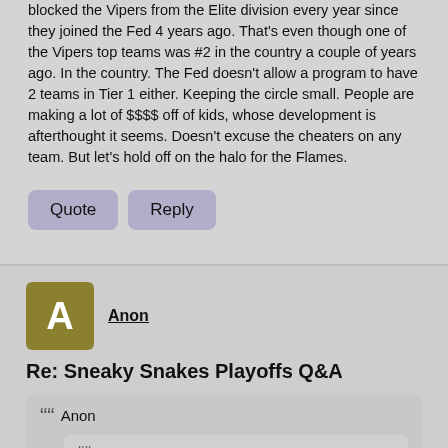blocked the Vipers from the Elite division every year since they joined the Fed 4 years ago. That's even though one of the Vipers top teams was #2 in the country a couple of years ago. In the country. The Fed doesn't allow a program to have 2 teams in Tier 1 either. Keeping the circle small. People are making a lot of $$$$ off of kids, whose development is afterthought it seems. Doesn't excuse the cheaters on any team. But let's hold off on the halo for the Flames.
Quote
Reply
Anon
Re: Sneaky Snakes Playoffs Q&A
Anon
Anon